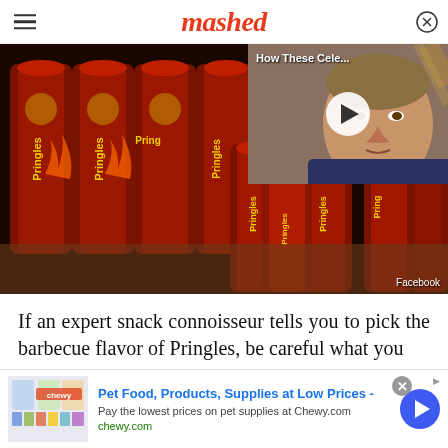mashed
[Figure (photo): Multiple cans of Pringles BBQ flavor stacked and arranged on a table, with a video overlay thumbnail showing a celebrity (Gordon Ramsay) and text 'How These Cele...' with a play button. Facebook credit shown in bottom right.]
If an expert snack connoisseur tells you to pick the barbecue flavor of Pringles, be careful what you
[Figure (infographic): Advertisement banner for Chewy.com: 'Pet Food, Products, Supplies at Low Prices - Pay the lowest prices on pet supplies at Chewy.com' with chewy.com URL and product images.]